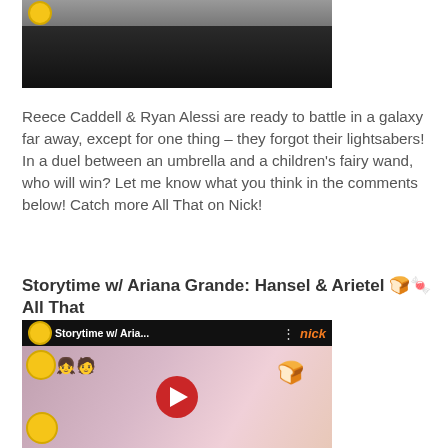[Figure (screenshot): Top portion of a YouTube video thumbnail showing a dark video player with gray top bar and yellow badge/logo visible]
Reece Caddell & Ryan Alessi are ready to battle in a galaxy far away, except for one thing – they forgot their lightsabers! In a duel between an umbrella and a children's fairy wand, who will win? Let me know what you think in the comments below! Catch more All That on Nick!
Storytime w/ Ariana Grande: Hansel & Arietel 🍞🍬 All That
[Figure (screenshot): YouTube video thumbnail for 'Storytime w/ Aria...' showing Ariana Grande holding a piece of bread on a stick, with Nickelodeon All That logo badges, emoji people stickers, and a red play button overlay. Nick logo visible in top right.]